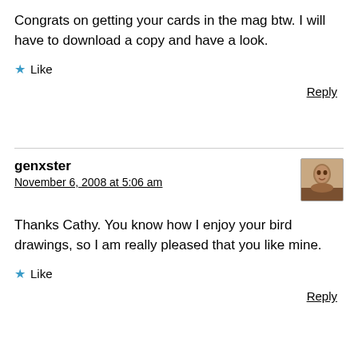Congrats on getting your cards in the mag btw. I will have to download a copy and have a look.
Like
Reply
genxster
November 6, 2008 at 5:06 am
Thanks Cathy. You know how I enjoy your bird drawings, so I am really pleased that you like mine.
Like
Reply